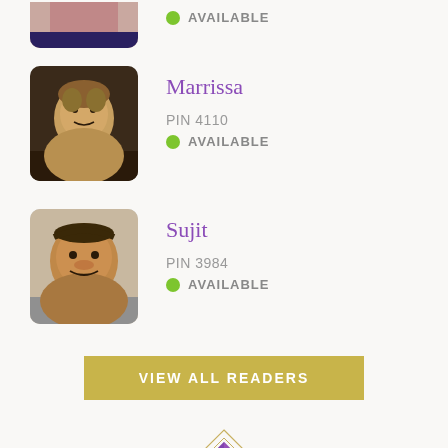[Figure (photo): Partial view of first reader profile photo (cropped at top), woman with earrings]
AVAILABLE
[Figure (photo): Profile photo of Marrissa, a woman]
Marrissa
PIN 4110
AVAILABLE
[Figure (photo): Profile photo of Sujit, a man]
Sujit
PIN 3984
AVAILABLE
VIEW ALL READERS
[Figure (illustration): Decorative diamond/gem divider ornament with horizontal lines on each side]